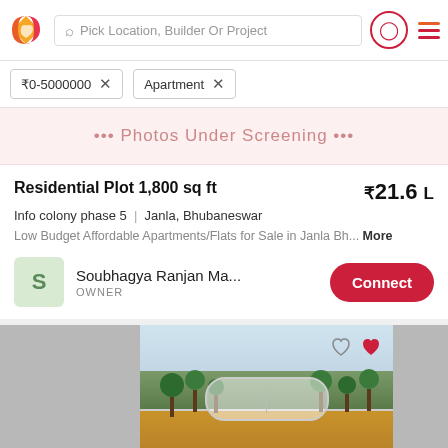Pick Location, Builder Or Project
₹0-5000000  Apartment
[Figure (screenshot): Photos Under Screening banner with pink background]
Residential Plot 1,800 sq ft  ₹21.6 L
Info colony phase 5 | Janla, Bhubaneswar
Low Budget Affordable Apartments/Flats for Sale in Janla Bh... More
Soubhagya Ranjan Ma...
OWNER
[Figure (photo): Outdoor photo of a residential plot with trees along a dirt road, sky in background, with heart/favorite icons overlay and a pill-shaped UI element]